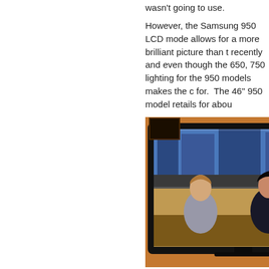wasn't going to use.
However, the Samsung 950 LCD mode allows for a more brilliant picture than t recently and even though the 650, 750 lighting for the 950 models makes the c for. The 46" 950 model retails for abou
[Figure (photo): A Samsung flat-panel LCD television sitting on a stand, displaying two female news anchors at a desk. The TV is shown in a warm-colored room.]
I ende Before Forum going (there' televis I'd get

I ende shippe 46A650 was one of their best selling - $250 bucks on the unit had I bought it there's not a lot of profit margin in vide
I've been playing it as much as I can to the unit. So far, I've been knocked out big for our family room, but I'm sure sh larger one..."
October 13, 2008 in AudioVideo Info, This 'n' Tha
Tweet   Like 0